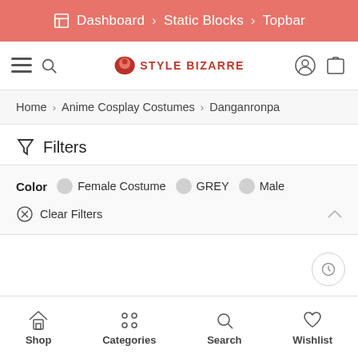Dashboard > Static Blocks > Topbar
[Figure (screenshot): Site navigation bar with hamburger menu, search icon, Style Bizarre logo, user account icon, and cart icon]
Home > Anime Cosplay Costumes > Danganronpa
Filters
Color  Female Costume  GREY  Male
Clear Filters
Shop  Categories  Search  Wishlist